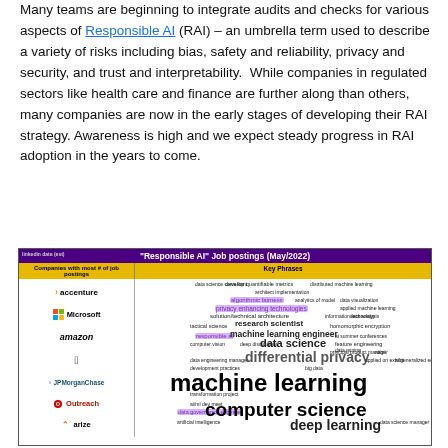Many teams are beginning to integrate audits and checks for various aspects of Responsible AI (RAI) – an umbrella term used to describe a variety of risks including bias, safety and reliability, privacy and security, and trust and interpretability.  While companies in regulated sectors like health care and finance are further along than others, many companies are now in the early stages of developing their RAI strategy. Awareness is high and we expect steady progress in RAI adoption in the years to come.
[Figure (infographic): Table/word cloud hybrid titled '"Responsible AI" Job postings (May/2022)' with purple header. Left column lists companies with most job postings: accenture, Microsoft, amazon, Apple, JPMorganChase, Outreach, arize. Right column shows a word cloud of key phrases including: machine learning (largest), computer science, differential privacy, data science, research scientist, machine learning engineer, privacy enhancing technologies, and many others.]